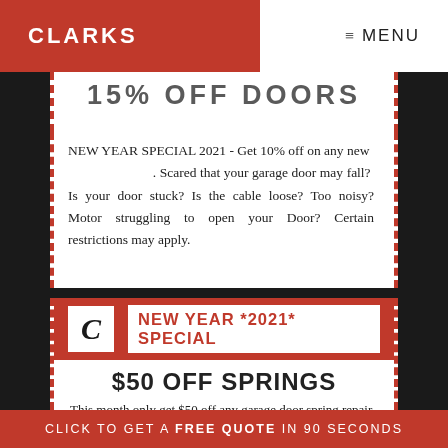CLARKS   MENU
15% OFF DOORS
NEW YEAR SPECIAL 2021 - Get 10% off on any new . Scared that your garage door may fall? Is your door stuck? Is the cable loose? Too noisy? Motor struggling to open your Door? Certain restrictions may apply.
NEW YEAR *2021* SPECIAL
$50 OFF SPRINGS
This month only get $50 off any garage door spring repair
CLICK TO GET A FREE QUOTE IN 90 SECONDS